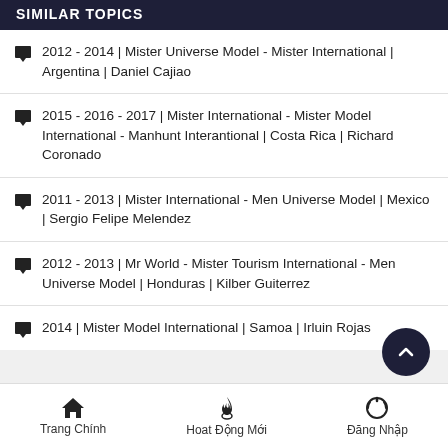SIMILAR TOPICS
2012 - 2014 | Mister Universe Model - Mister International | Argentina | Daniel Cajiao
2015 - 2016 - 2017 | Mister International - Mister Model International - Manhunt Interantional | Costa Rica | Richard Coronado
2011 - 2013 | Mister International - Men Universe Model | Mexico | Sergio Felipe Melendez
2012 - 2013 | Mr World - Mister Tourism International - Men Universe Model | Honduras | Kilber Guiterrez
2014 | Mister Model International | Samoa | Irluin Rojas
Trang Chính   Hoat Động Mới   Đăng Nhập